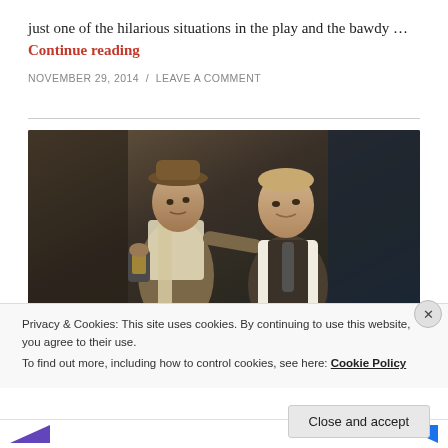just one of the hilarious situations in the play and the bawdy … Continue reading
NOVEMBER 29, 2014 / LEAVE A COMMENT
[Figure (photo): Two actors on stage: an older man wearing a bowler hat and long scarf holding a lantern, leaning on a younger man in a vest and tie, both looking forward in a dimly lit theatrical setting.]
Privacy & Cookies: This site uses cookies. By continuing to use this website, you agree to their use.
To find out more, including how to control cookies, see here: Cookie Policy
Close and accept